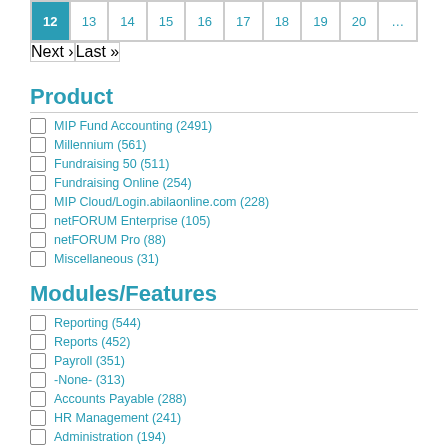Pagination: 12, 13, 14, 15, 16, 17, 18, 19, 20, ..., Next, Last
Product
MIP Fund Accounting (2491)
Millennium (561)
Fundraising 50 (511)
Fundraising Online (254)
MIP Cloud/Login.abilaonline.com (228)
netFORUM Enterprise (105)
netFORUM Pro (88)
Miscellaneous (31)
Modules/Features
Reporting (544)
Reports (452)
Payroll (351)
-None- (313)
Accounts Payable (288)
HR Management (241)
Administration (194)